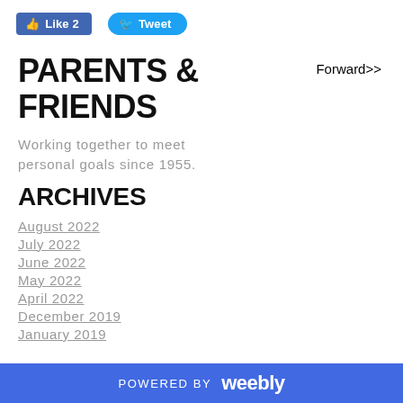[Figure (other): Facebook Like button with count 2 and Twitter Tweet button]
Forward>>
PARENTS & FRIENDS
Working together to meet personal goals since 1955.
ARCHIVES
August 2022
July 2022
June 2022
May 2022
April 2022
December 2019
January 2019
POWERED BY weebly